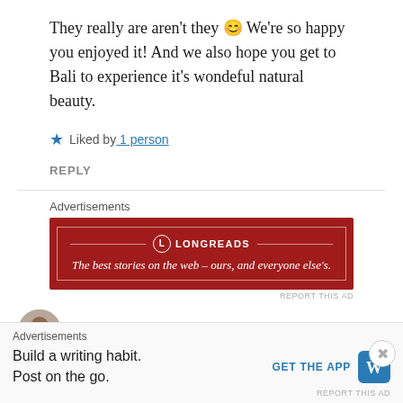They really are aren't they 😊 We're so happy you enjoyed it! And we also hope you get to Bali to experience it's wondeful natural beauty.
★ Liked by 1 person
REPLY
[Figure (other): Longreads advertisement banner: red background with white border, Longreads logo and tagline 'The best stories on the web – ours, and everyone else's.']
thecuriouscowgirl
[Figure (other): Bottom advertisement bar: 'Build a writing habit. Post on the go.' with GET THE APP button and WordPress logo icon.]